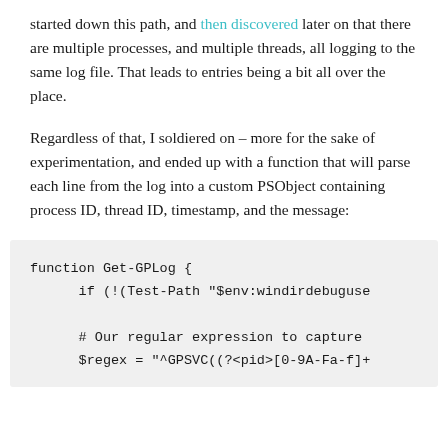started down this path, and then discovered later on that there are multiple processes, and multiple threads, all logging to the same log file. That leads to entries being a bit all over the place.
Regardless of that, I soldiered on – more for the sake of experimentation, and ended up with a function that will parse each line from the log into a custom PSObject containing process ID, thread ID, timestamp, and the message:
[Figure (screenshot): Code block showing PowerShell function Get-GPLog with if statement checking Test-Path for $env:windirdebuguse, a comment about regular expression to capture, and $regex assignment starting with '^GPSVC((?<pid>[0-9A-Fa-f]+']